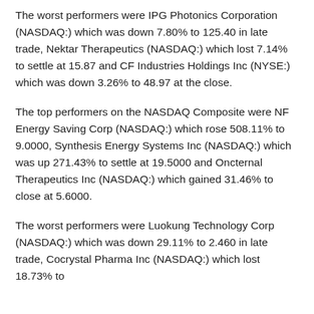The worst performers were IPG Photonics Corporation (NASDAQ:) which was down 7.80% to 125.40 in late trade, Nektar Therapeutics (NASDAQ:) which lost 7.14% to settle at 15.87 and CF Industries Holdings Inc (NYSE:) which was down 3.26% to 48.97 at the close.
The top performers on the NASDAQ Composite were NF Energy Saving Corp (NASDAQ:) which rose 508.11% to 9.0000, Synthesis Energy Systems Inc (NASDAQ:) which was up 271.43% to settle at 19.5000 and Oncternal Therapeutics Inc (NASDAQ:) which gained 31.46% to close at 5.6000.
The worst performers were Luokung Technology Corp (NASDAQ:) which was down 29.11% to 2.460 in late trade, Cocrystal Pharma Inc (NASDAQ:) which lost 18.73% to